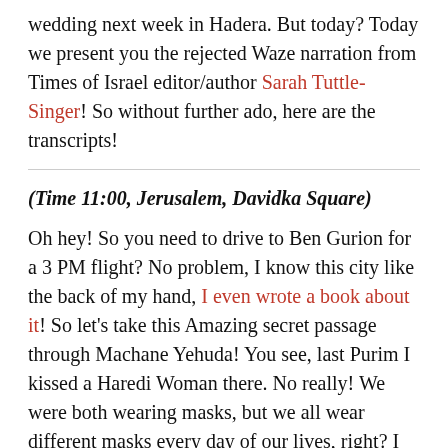wedding next week in Hadera. But today? Today we present you the rejected Waze narration from Times of Israel editor/author Sarah Tuttle-Singer! So without further ado, here are the transcripts!
(Time 11:00, Jerusalem, Davidka Square)
Oh hey! So you need to drive to Ben Gurion for a 3 PM flight? No problem, I know this city like the back of my hand, I even wrote a book about it! So let's take this Amazing secret passage through Machane Yehuda! You see, last Purim I kissed a Haredi Woman there. No really! We were both wearing masks, but we all wear different masks every day of our lives, right? I mean when you